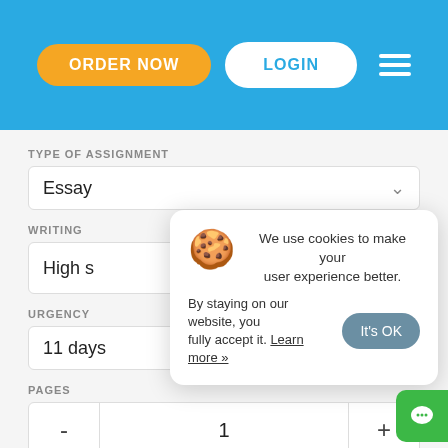[Figure (screenshot): Website header with blue background containing ORDER NOW (orange rounded button), LOGIN (white rounded button), and hamburger menu icon]
TYPE OF ASSIGNMENT
Essay
WRITING
High s
[Figure (infographic): Cookie consent popup with cookie emoji, message 'We use cookies to make your user experience better. By staying on our website, you fully accept it. Learn more »', and It's OK button]
URGENCY
11 days
PAGES
- 1 +